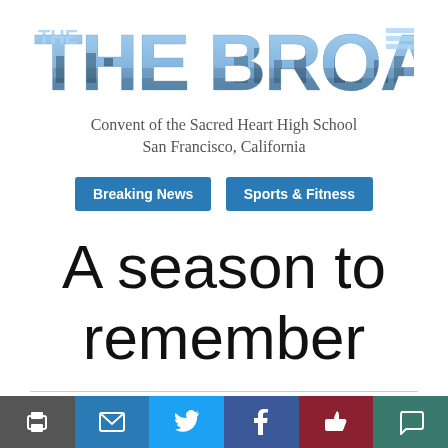[Figure (logo): The Broadview newspaper logo with cityscape/bay aerial photo as fill in large bold text]
Convent of the Sacred Heart High School
San Francisco, California
Breaking News
Sports & Fitness
A season to remember
Giants games attract teenagers